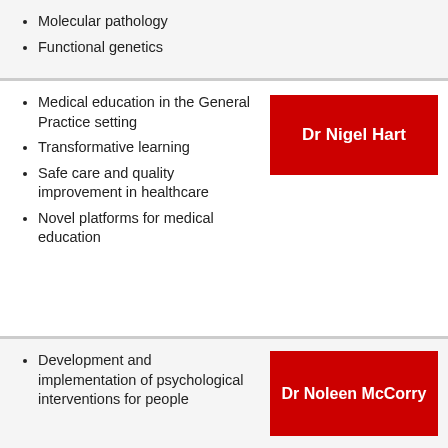Molecular pathology
Functional genetics
Medical education in the General Practice setting
Transformative learning
Safe care and quality improvement in healthcare
Novel platforms for medical education
Dr Nigel Hart
Development and implementation of psychological interventions for people
Dr Noleen McCorry